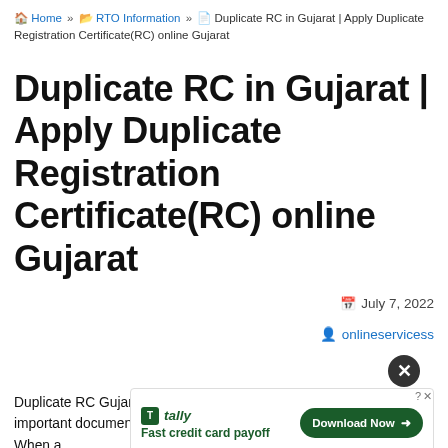🏠 Home » 📂 RTO Information » 📄 Duplicate RC in Gujarat | Apply Duplicate Registration Certificate(RC) online Gujarat
Duplicate RC in Gujarat | Apply Duplicate Registration Certificate(RC) online Gujarat
July 7, 2022
onlineservicess
Duplicate RC Gujarat : Vehicle Registration certificate(RC) very im[portant document at. When a[vehicle is repor]ted to be lost, mutilated, torn or used-up, duplicate registration